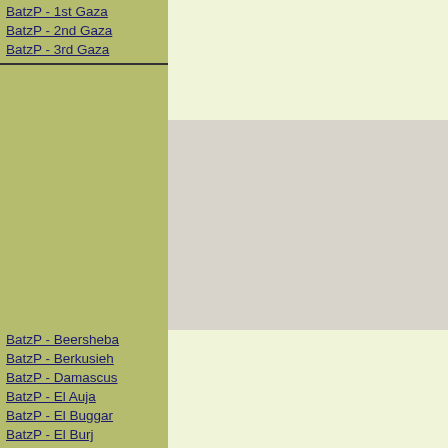BatzP - 1st Gaza
BatzP - 2nd Gaza
BatzP - 3rd Gaza
BatzP - Berkusieh
BatzP - Damascus
BatzP - El Auja
BatzP - El Buggar
BatzP - El Burj
BatzP - Haifa
BatzP - Huj
BatzP - JB Yakub
BatzP - Kaukab
BatzP - Khan Kusseir
BatzP - Khuweilfe
BatzP - Kuneitra
BatzP - Megiddo
BatzP - Nablus
BatzP - Rafa
BatzP - Sasa
BatzP - Semakh
BatzP - Sheria
BatzP - Surafend